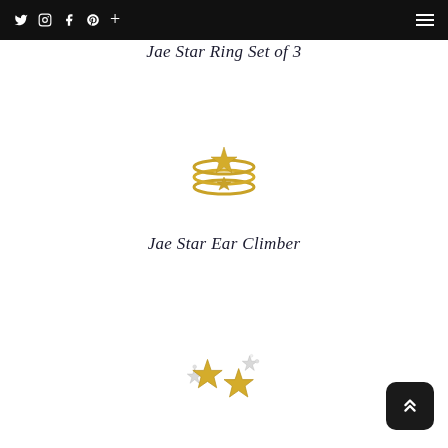Navigation bar with social icons (Twitter, Instagram, Facebook, Pinterest, Plus) and hamburger menu
Jae Star Ring Set of 3
[Figure (photo): Gold Jae Star Ring Set of 3 - three stacked gold rings with star charms]
Jae Star Ear Climber
[Figure (photo): Gold Jae Star Ear Climber - pair of star-shaped earrings in gold and silver tones]